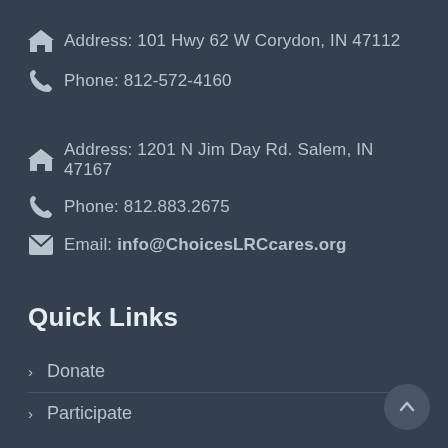Address: 101 Hwy 62 W Corydon, IN 47112
Phone: 812-572-4160
Address: 1201 N Jim Day Rd. Salem, IN 47167
Phone: 812.883.2675
Email: info@ChoicesLRCcares.org
Quick Links
Donate
Participate